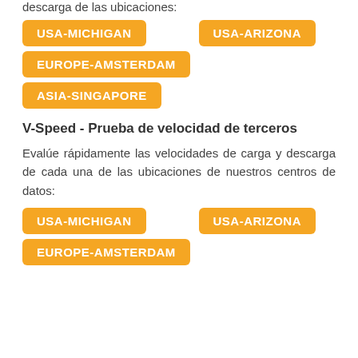descarga de las ubicaciones:
USA-MICHIGAN
USA-ARIZONA
EUROPE-AMSTERDAM
ASIA-SINGAPORE
V-Speed - Prueba de velocidad de terceros
Evalúe rápidamente las velocidades de carga y descarga de cada una de las ubicaciones de nuestros centros de datos:
USA-MICHIGAN
USA-ARIZONA
EUROPE-AMSTERDAM